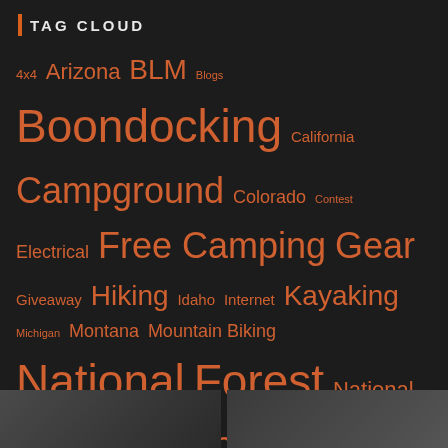TAG CLOUD
[Figure (infographic): Tag cloud with various camping, outdoor, and travel-related tags in different font sizes, all in orange color on dark background. Tags include: 4x4, Arizona, BLM, Blogs, Boondocking, California, Campground, Colorado, Contest, Electrical, Free Camping, Gear, Giveaway, Hiking, Idaho, Internet, Kayaking, Michigan, Montana, Mountain Biking, National Forest, National Monument, National Park, National Recreation Area, Nevada, New Mexico, North Dakota, Oregon, Photography, Propane, skiing, Solar, South Dakota, State Lands, State Park, Technology, Tennessee, Texas, Utah, Washington, Water, Winter, Wisconsin, Wyoming, YouTube]
[Figure (photo): Two photo thumbnails at the bottom of the page]